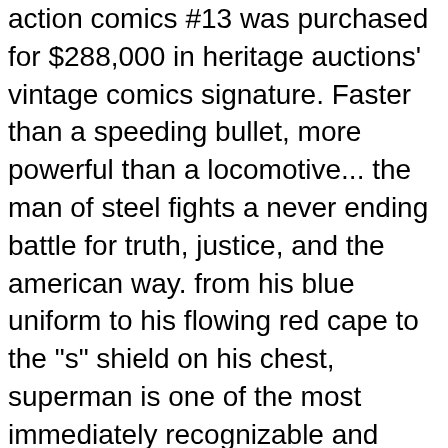action comics #13 was purchased for $288,000 in heritage auctions' vintage comics signature. Faster than a speeding bullet, more powerful than a locomotive... the man of steel fights a never ending battle for truth, justice, and the american way. from his blue uniform to his flowing red cape to the "s" shield on his chest, superman is one of the most immediately recognizable and beloved dc super heroes of all time. the man of steel is the ultimate symbol of truth, justice, and hope. Item specifics. “clearance sale below retail this 2016 pure 1oz silver dc comics originals: superman the man of steel coin is a must have for any superman collector. packed & ready for your collection & enjoyment.". modified item: country region of manufacture: canada. fineness: 0.9999. coin:. Very rare sage leather vintage coach classic shoulder